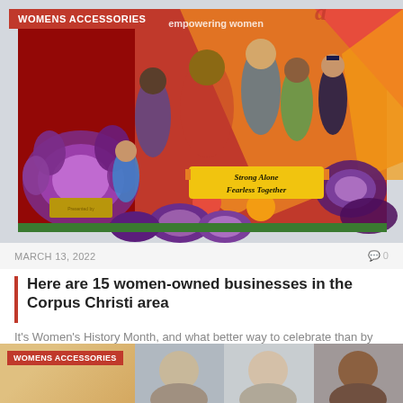[Figure (photo): Colorful mural on a building wall depicting diverse women of various ages and backgrounds surrounded by succulent flowers, with a banner reading 'Strong Alone Fearless Together'. Red and orange geometric background.]
WOMENS ACCESSORIES
MARCH 13, 2022    0
Here are 15 women-owned businesses in the Corpus Christi area
It's Women’s History Month, and what better way to celebrate than by supporting local women-owned…
[Figure (photo): Partial view of a second article card at the bottom of the page, showing a 'WOMENS ACCESSORIES' badge and partial headshots of three people.]
WOMENS ACCESSORIES